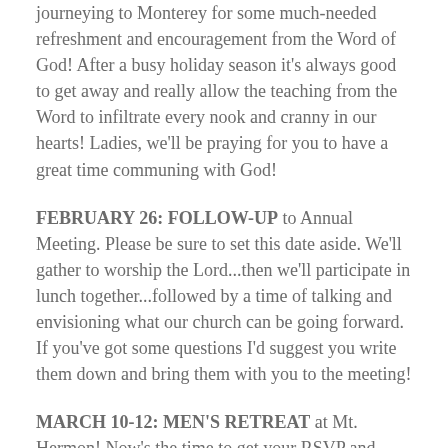journeying to Monterey for some much-needed refreshment and encouragement from the Word of God! After a busy holiday season it's always good to get away and really allow the teaching from the Word to infiltrate every nook and cranny in our hearts! Ladies, we'll be praying for you to have a great time communing with God!
FEBRUARY 26: FOLLOW-UP to Annual Meeting. Please be sure to set this date aside. We'll gather to worship the Lord...then we'll participate in lunch together...followed by a time of talking and envisioning what our church can be going forward. If you've got some questions I'd suggest you write them down and bring them with you to the meeting!
MARCH 10-12: MEN'S RETREAT at Mt. Hermon! Now's the time to get your RSVP and initial deposit in for Men's Retreat 2017! Just as the ladies will be enjoying the wonder of the Lord, so too will we men. We need